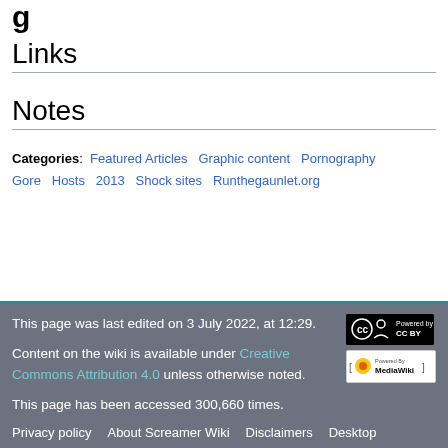Links
Notes
Categories: Featured Articles Graphic content Pornography Gore Hosts 2013 Shock sites Runthegaunlet.org
This page was last edited on 3 July 2022, at 12:29.

Content on the wiki is available under Creative Commons Attribution 4.0 unless otherwise noted.

This page has been accessed 300,660 times.

Privacy policy  About Screamer Wiki  Disclaimers  Desktop